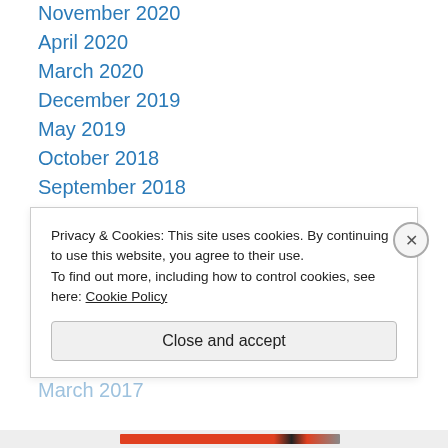November 2020
April 2020
March 2020
December 2019
May 2019
October 2018
September 2018
May 2018
January 2018
October 2017
September 2017
August 2017
May 2017
March 2017
Privacy & Cookies: This site uses cookies. By continuing to use this website, you agree to their use.
To find out more, including how to control cookies, see here: Cookie Policy
Close and accept